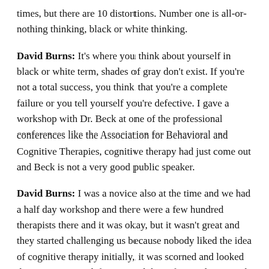times, but there are 10 distortions. Number one is all-or-nothing thinking, black or white thinking.
David Burns: It's where you think about yourself in black or white term, shades of gray don't exist. If you're not a total success, you think that you're a complete failure or you tell yourself you're defective. I gave a workshop with Dr. Beck at one of the professional conferences like the Association for Behavioral and Cognitive Therapies, cognitive therapy had just come out and Beck is not a very good public speaker.
David Burns: I was a novice also at the time and we had a half day workshop and there were a few hundred therapists there and it was okay, but it wasn't great and they started challenging us because nobody liked the idea of cognitive therapy initially, it was scorned and looked down on. We got defensive and then afterwards Dr. Beck looked at me and said, "David, you look like you're feeling down. What's the problem?"